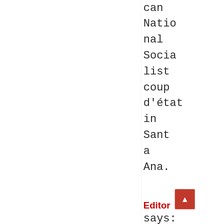can National Socialist coup d'état in Santa Ana.
Editor says: